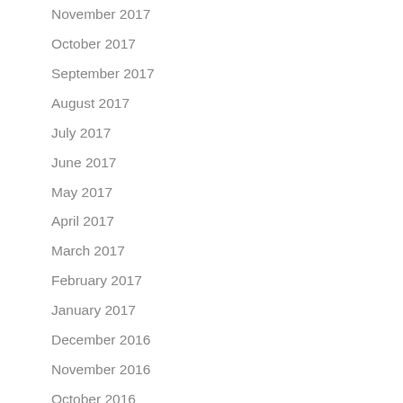November 2017
October 2017
September 2017
August 2017
July 2017
June 2017
May 2017
April 2017
March 2017
February 2017
January 2017
December 2016
November 2016
October 2016
September 2016